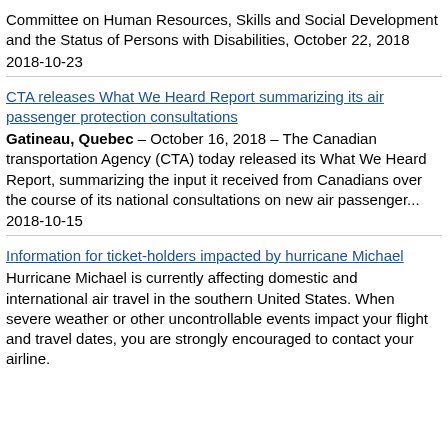Committee on Human Resources, Skills and Social Development and the Status of Persons with Disabilities, October 22, 2018
2018-10-23
CTA releases What We Heard Report summarizing its air passenger protection consultations
Gatineau, Quebec – October 16, 2018 – The Canadian transportation Agency (CTA) today released its What We Heard Report, summarizing the input it received from Canadians over the course of its national consultations on new air passenger...
2018-10-15
Information for ticket-holders impacted by hurricane Michael
Hurricane Michael is currently affecting domestic and international air travel in the southern United States. When severe weather or other uncontrollable events impact your flight and travel dates, you are strongly encouraged to contact your airline.